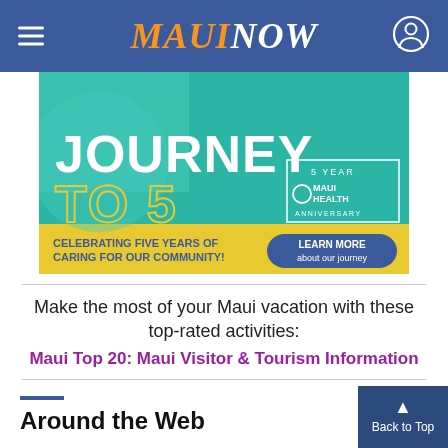MAUI NOW
[Figure (infographic): Maui Health 5 Year Anniversary ad banner. Large text: JOURNEY TO 5. Subtitle: 5 YEAR MAUI HEALTH ANNIVERSARY. Bottom bar in yellow: CELEBRATING FIVE YEARS OF CARING FOR OUR COMMUNITY! Button: LEARN MORE about our journey]
Make the most of your Maui vacation with these top-rated activities:
Maui Top 20: Maui Visitor & Tourism Information
Around the Web